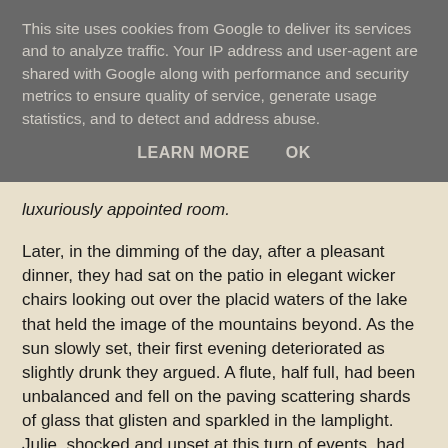This site uses cookies from Google to deliver its services and to analyze traffic. Your IP address and user-agent are shared with Google along with performance and security metrics to ensure quality of service, generate usage statistics, and to detect and address abuse.
LEARN MORE    OK
luxuriously appointed room.
Later, in the dimming of the day, after a pleasant dinner, they had sat on the patio in elegant wicker chairs looking out over the placid waters of the lake that held the image of the mountains beyond. As the sun slowly set, their first evening deteriorated as slightly drunk they argued. A flute, half full, had been unbalanced and fell on the paving scattering shards of glass that glisten and sparkled in the lamplight. Julie, shocked and upset at this turn of events, had gone to bed alone.
++++++
After formally identifying the body of her husband, Julie